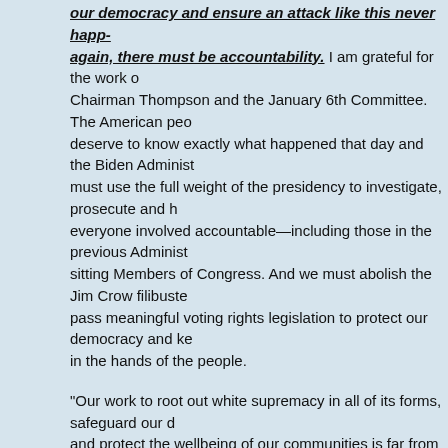our democracy and ensure an attack like this never happens again, there must be accountability. I am grateful for the work of Chairman Thompson and the January 6th Committee. The American people deserve to know exactly what happened that day and the Biden Administration must use the full weight of the presidency to investigate, prosecute and hold everyone involved accountable—including those in the previous Administration, sitting Members of Congress. And we must abolish the Jim Crow filibuster to pass meaningful voting rights legislation to protect our democracy and keep power in the hands of the people.
“Our work to root out white supremacy in all of its forms, safeguard our democracy and protect the wellbeing of our communities is far from finished. We must not grow uncomfortable with what happened that day and the trauma it caused. We cannot grow complacent and we must move with the urgency this moment demands.
******************************
Congressman Dan Kildee full interview discussing video captured during Capitol riot
Feb 11, 2021
WXYZ-TV Detroit | Channel 7
Michigan Congressman Dan Kildee (D-Flint), was one of many politicians inside of the U.S. Capitol building during the insurrection on Jan. 6. He ca...